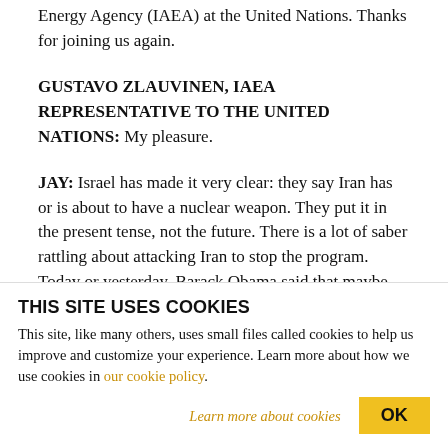Energy Agency (IAEA) at the United Nations. Thanks for joining us again.
GUSTAVO ZLAUVINEN, IAEA REPRESENTATIVE TO THE UNITED NATIONS: My pleasure.
JAY: Israel has made it very clear: they say Iran has or is about to have a nuclear weapon. They put it in the present tense, not the future. There is a lot of saber rattling about attacking Iran to stop the program. Today or yesterday, Barack Obama said that maybe
THIS SITE USES COOKIES
This site, like many others, uses small files called cookies to help us improve and customize your experience. Learn more about how we use cookies in our cookie policy.
Learn more about cookies
OK